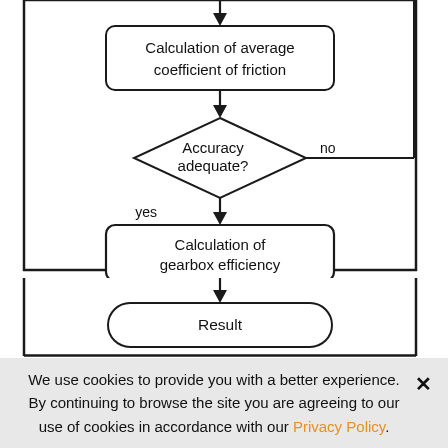[Figure (flowchart): Partial flowchart showing: arrow into 'Calculation of average coefficient of friction' rounded rectangle box, arrow down to diamond decision 'Accuracy adequate?' with 'no' branch going right (looping back up) and 'yes' branch going down, arrow to 'Calculation of gearbox efficiency' rounded rectangle box, arrow down to 'Result' stadium-shaped terminal box.]
We use cookies to provide you with a better experience. By continuing to browse the site you are agreeing to our use of cookies in accordance with our Privacy Policy.